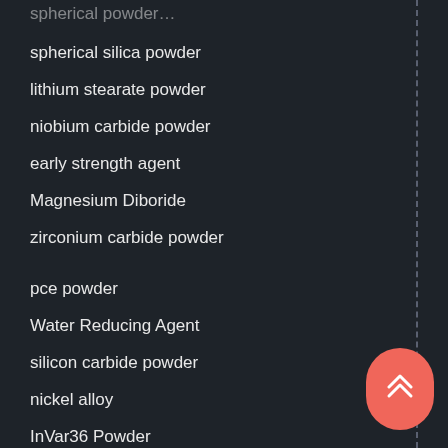spherical silica powder
lithium stearate powder
niobium carbide powder
early strength agent
Magnesium Diboride
zirconium carbide powder
pce powder
Water Reducing Agent
silicon carbide powder
nickel alloy
InVar36 Powder
Spherical Niobium Powder